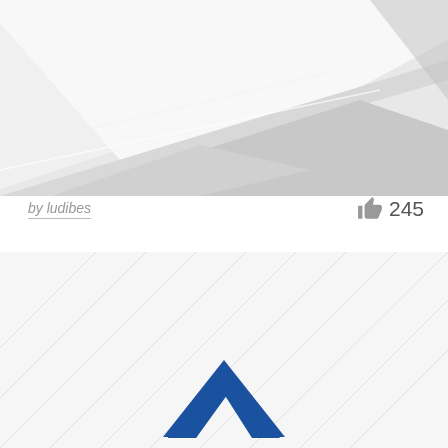[Figure (photo): Close-up abstract photo of white airplane wing surfaces with geometric angles and shadows]
by ludibes
245
[Figure (logo): Blue upward-pointing chevron/arrow logo on a light geometric background pattern]